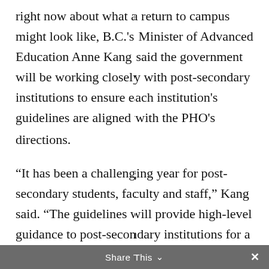right now about what a return to campus might look like, B.C.'s Minister of Advanced Education Anne Kang said the government will be working closely with post-secondary institutions to ensure each institution's guidelines are aligned with the PHO's directions.
“It has been a challenging year for post-secondary students, faculty and staff,” Kang said. “The guidelines will provide high-level guidance to post-secondary institutions for a safe resumption of on-campus learning. Institutions will then